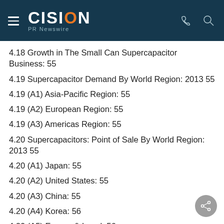CISION PR Newswire
4.18 Growth in The Small Can Supercapacitor Business: 55
4.19 Supercapacitor Demand By World Region: 2013 55
4.19 (A1) Asia-Pacific Region: 55
4.19 (A2) European Region: 55
4.19 (A3) Americas Region: 55
4.20 Supercapacitors: Point of Sale By World Region: 2013 55
4.20 (A1) Japan: 55
4.20 (A2) United States: 55
4.20 (A3) China: 55
4.20 (A4) Korea: 56
4.20 (A5) Europe & Israel: 56